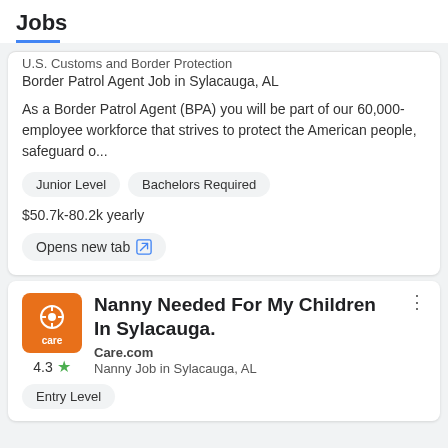Jobs
U.S. Customs and Border Protection
Border Patrol Agent Job in Sylacauga, AL
As a Border Patrol Agent (BPA) you will be part of our 60,000-employee workforce that strives to protect the American people, safeguard o...
Junior Level
Bachelors Required
$50.7k-80.2k yearly
Opens new tab
Nanny Needed For My Children In Sylacauga.
Care.com
Nanny Job in Sylacauga, AL
Entry Level